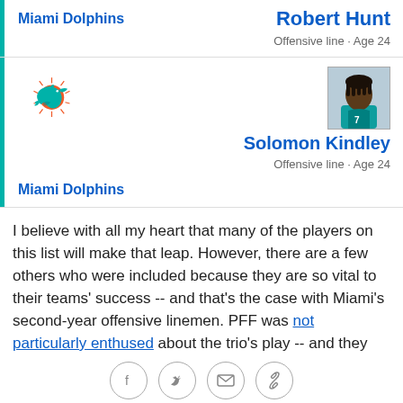Miami Dolphins
Robert Hunt
Offensive line · Age 24
[Figure (logo): Miami Dolphins team logo - dolphin with orange sun]
[Figure (photo): Solomon Kindley player headshot in teal uniform]
Miami Dolphins
Solomon Kindley
Offensive line · Age 24
I believe with all my heart that many of the players on this list will make that leap. However, there are a few others who were included because they are so vital to their teams' success -- and that's the case with Miami's second-year offensive linemen. PFF was not particularly enthused about the trio's play -- and they